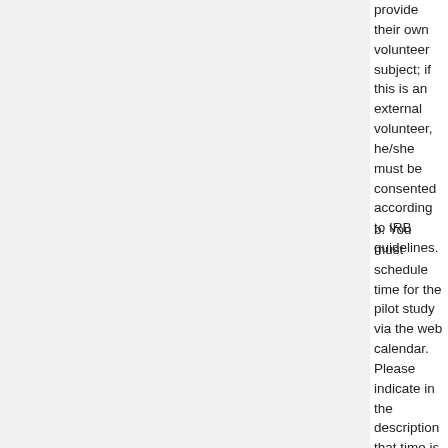provide their own volunteer subject; if this is an external volunteer, he/she must be consented according to IRB guidelines.
b. You must schedule time for the pilot study via the web calendar. Please indicate in the description that time is being requested for a “pilot study”.